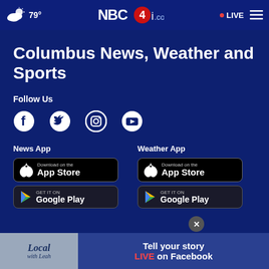79° NBC4i.com LIVE
Columbus News, Weather and Sports
Follow Us
[Figure (infographic): Social media icons: Facebook, Twitter, Instagram, YouTube]
News App
[Figure (infographic): Download on the App Store button and GET IT ON Google Play button for News App]
Weather App
[Figure (infographic): Download on the App Store button and GET IT ON Google Play button for Weather App]
[Figure (infographic): Advertisement banner: Local with Leah - Tell your story LIVE on Facebook]